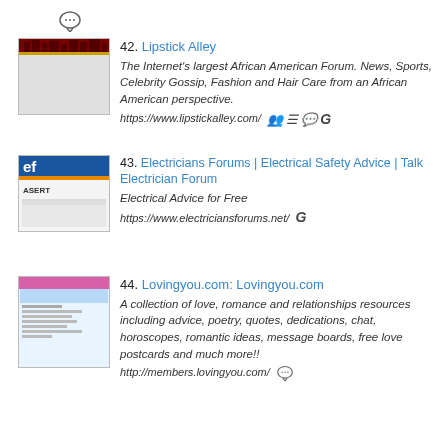[Figure (screenshot): Speech bubble / comment icon at top of page]
42. Lipstick Alley — The Internet's largest African American Forum. News, Sports, Celebrity Gossip, Fashion and Hair Care from an African American perspective. https://www.lipstickalley.com/
43. Electricians Forums | Electrical Safety Advice | Talk Electrician Forum — Electrical Advice for Free. https://www.electriciansforums.net/
44. Lovingyou.com: Lovingyou.com — A collection of love, romance and relationships resources including advice, poetry, quotes, dedications, chat, horoscopes, romantic ideas, message boards, free love postcards and much more!! http://members.lovingyou.com/